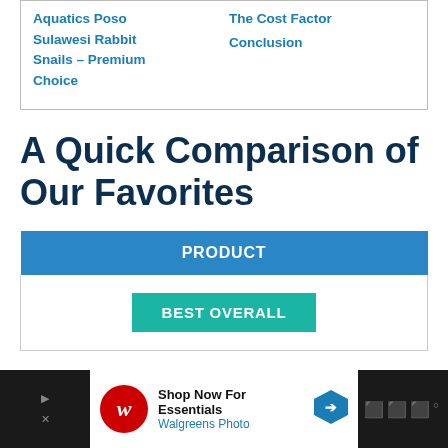Aquatics Poso Sulawesi Rabbit Snails – Premium Choice
The Cost Factor
Conclusion
A Quick Comparison of Our Favorites
| PRODUCT |
| --- |
| BEST OVERALL |
[Figure (other): Advertisement banner for Walgreens Photo - Shop Now For Essentials]